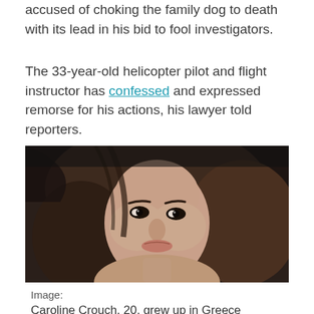accused of choking the family dog to death with its lead in his bid to fool investigators.
The 33-year-old helicopter pilot and flight instructor has confessed and expressed remorse for his actions, his lawyer told reporters.
[Figure (photo): Close-up photo of a young woman with dark wavy/curly hair, looking at the camera. She has light skin, dark eyes, and a neutral expression.]
Image:
Caroline Crouch, 20, grew up in Greece